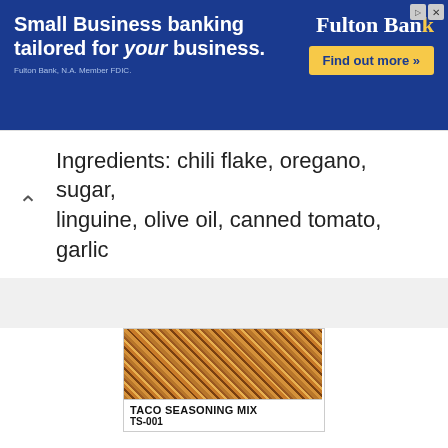[Figure (other): Fulton Bank advertisement banner: 'Small Business banking tailored for your business.' with Fulton Bank logo and 'Find out more »' button on blue background]
Ingredients: chili flake, oregano, sugar, linguine, olive oil, canned tomato, garlic
[Figure (photo): Close-up photo of taco seasoning mix — granular reddish-brown spice blend. Label reads: TACO SEASONING MIX TS-001]